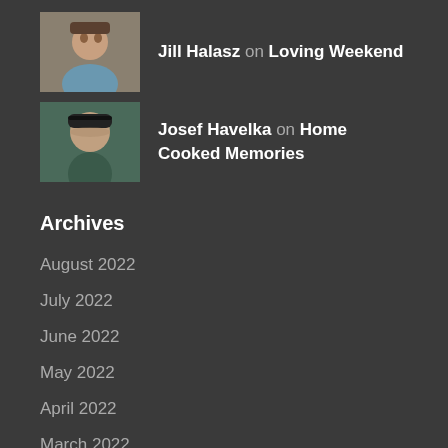Jill Halasz on Loving Weekend
Josef Havelka on Home Cooked Memories
Archives
August 2022
July 2022
June 2022
May 2022
April 2022
March 2022
February 2022